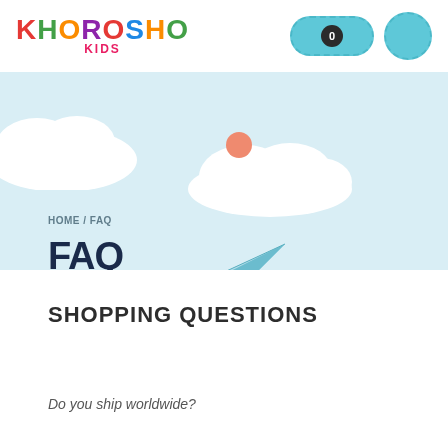[Figure (logo): Khorosho Kids colorful logo with multicolor bubble letters]
[Figure (illustration): Light blue banner with clouds, orange circle, paper plane, and FAQ title]
HOME / FAQ
FAQ
SHOPPING QUESTIONS
Do you ship worldwide?